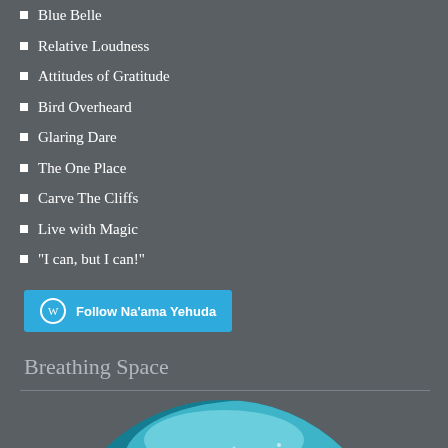Blue Belle
Relative Loudness
Attitudes of Gratitude
Bird Overheard
Glaring Dare
The One Place
Carve The Cliffs
Live with Magic
"I can, but I can!"
[Figure (other): Follow Na'ama Yehuda WordPress follow button with WordPress logo icon]
Breathing Space
[Figure (photo): Circular cropped underwater aquarium photo showing a large school of fish swimming in blue-green water with coral and aquatic plants]